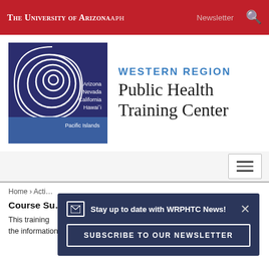The University of Arizona APH   Newsletter
[Figure (logo): Western Region Public Health Training Center logo with spiral graphic, states listed: Arizona, Nevada, California, Hawai'i, Pacific Islands]
WESTERN REGION Public Health Training Center
Home › Acti…
Course Su…
This training… about the information they have learned into practice. We explain…
Stay up to date with WRPHTC News!  SUBSCRIBE TO OUR NEWSLETTER